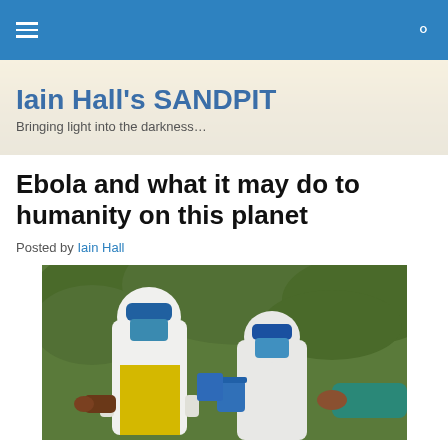Iain Hall's SANDPIT — navigation bar
Iain Hall's SANDPIT
Bringing light into the darkness…
Ebola and what it may do to humanity on this planet
Posted by Iain Hall
[Figure (photo): Two people wearing full white PPE hazmat suits and blue protective goggles/masks, with a third person in a teal shirt assisting them, set against a green leafy background — appears to be Ebola response workers being suited up.]